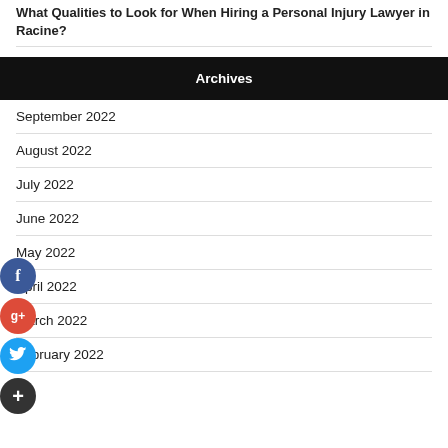What Qualities to Look for When Hiring a Personal Injury Lawyer in Racine?
Archives
September 2022
August 2022
July 2022
June 2022
May 2022
April 2022
March 2022
February 2022